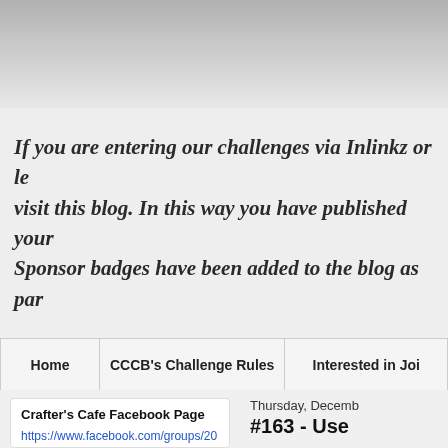[Figure (other): Top gray gradient banner area, appears to be a website header image placeholder]
If you are entering our challenges via Inlinkz or le visit this blog. In this way you have published your Sponsor badges have been added to the blog as par
Home | CCCB's Challenge Rules | Interested in Joi
Crafter's Cafe Facebook Page
https://www.facebook.com/groups/208451864 8227328
Thursday, Decemb
#163 - Use